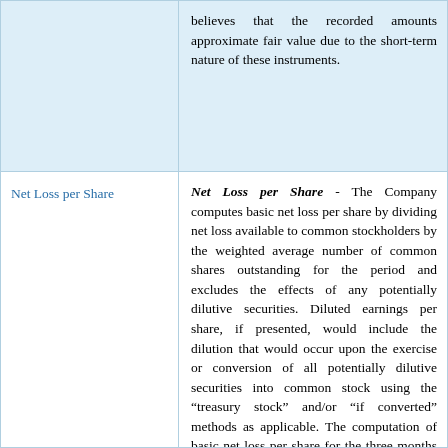believes that the recorded amounts approximate fair value due to the short-term nature of these instruments.
Net Loss per Share
Net Loss per Share - The Company computes basic net loss per share by dividing net loss available to common stockholders by the weighted average number of common shares outstanding for the period and excludes the effects of any potentially dilutive securities. Diluted earnings per share, if presented, would include the dilution that would occur upon the exercise or conversion of all potentially dilutive securities into common stock using the “treasury stock” and/or “if converted” methods as applicable. The computation of basic net loss per share for the three months ended March 31, 2022 and 2021 excludes the potentially dilutive securities summarized in the table below because their inclusion would be anti-dilutive.